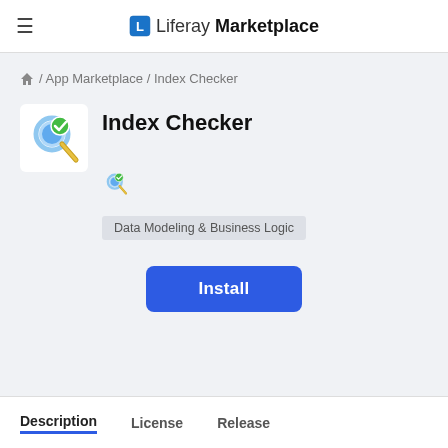Liferay Marketplace
/ App Marketplace / Index Checker
Index Checker
Data Modeling & Business Logic
Install
Description  License  Release